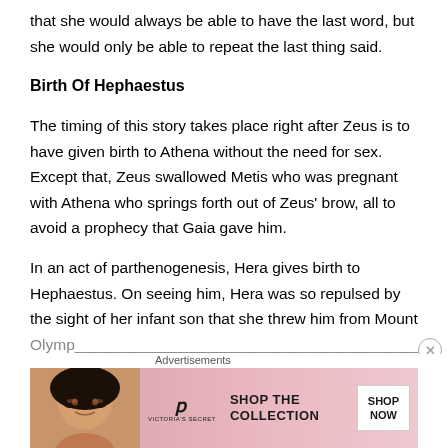that she would always be able to have the last word, but she would only be able to repeat the last thing said.
Birth Of Hephaestus
The timing of this story takes place right after Zeus is to have given birth to Athena without the need for sex. Except that, Zeus swallowed Metis who was pregnant with Athena who springs forth out of Zeus’ brow, all to avoid a prophecy that Gaia gave him.
In an act of parthenogenesis, Hera gives birth to Hephaestus. On seeing him, Hera was so repulsed by the sight of her infant son that she threw him from Mount
[Figure (advertisement): Victoria's Secret advertisement banner with a model, VS logo, 'SHOP THE COLLECTION' text, and 'SHOP NOW' button]
Advertisements